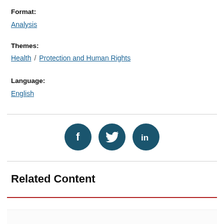Format:
Analysis
Themes:
Health / Protection and Human Rights
Language:
English
[Figure (infographic): Social media sharing icons: Facebook, Twitter, LinkedIn — dark teal circles with white icons]
Related Content